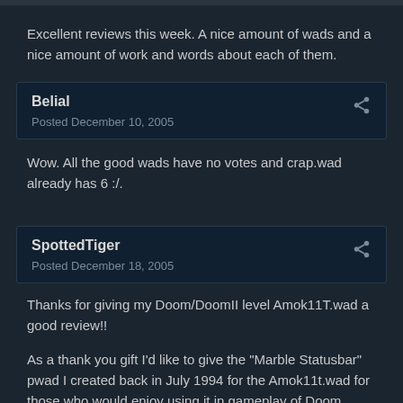Excellent reviews this week. A nice amount of wads and a nice amount of work and words about each of them.
Belial
Posted December 10, 2005
Wow. All the good wads have no votes and crap.wad already has 6 :/.
SpottedTiger
Posted December 18, 2005
Thanks for giving my Doom/DoomII level Amok11T.wad a good review!!
As a thank you gift I'd like to give the "Marble Statusbar" pwad I created back in July 1994 for the Amok11t.wad for those who would enjoy using it in gameplay of Doom, DoomII, and Final Doom. Enjoy!
MARSTBAR.WAD - Replaces the original stausbar with a marble one